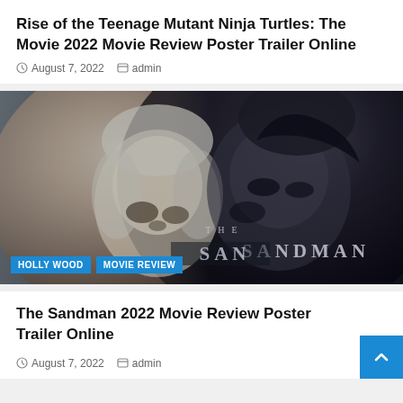Rise of the Teenage Mutant Ninja Turtles: The Movie 2022 Movie Review Poster Trailer Online
August 7, 2022   admin
[Figure (photo): Movie poster for The Sandman 2022 showing two characters faces - a pale woman with a bob haircut on the left and a dark-haired young man on the right, with 'THE SANDMAN' text overlay and category tags 'HOLLYWOOD' and 'MOVIE REVIEW' at the bottom]
The Sandman 2022 Movie Review Poster Trailer Online
August 7, 2022   admin